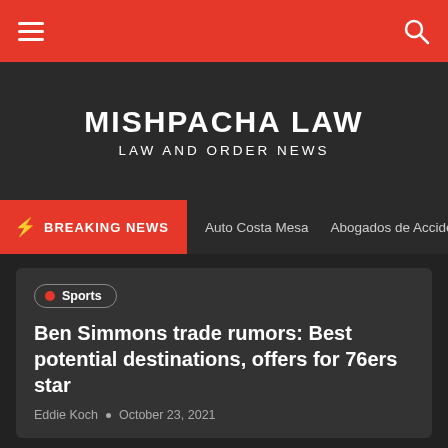MISHPACHA LAW | LAW AND ORDER NEWS
MISHPACHA LAW
LAW AND ORDER NEWS
BREAKING NEWS  Auto Costa Mesa  Abogados de Accident
Sports
Ben Simmons trade rumors: Best potential destinations, offers for 76ers star
Eddie Koch • October 23, 2021